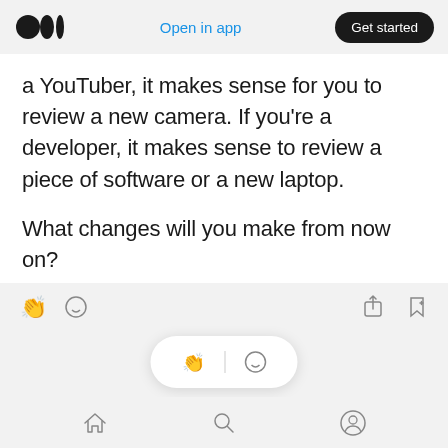Medium logo | Open in app | Get started
a YouTuber, it makes sense for you to review a new camera. If you're a developer, it makes sense to review a piece of software or a new laptop.

What changes will you make from now on?
[Figure (screenshot): Article interaction toolbar with clap, comment, share, and bookmark icons]
[Figure (screenshot): Floating pill with clap and comment icons]